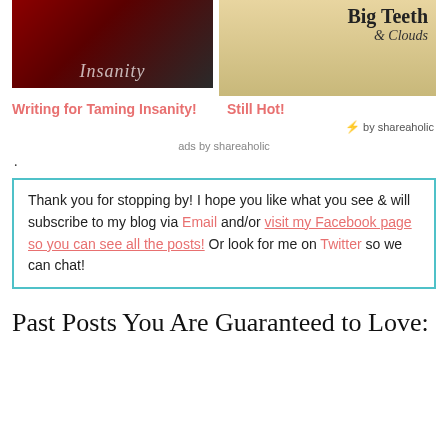[Figure (photo): Blog post thumbnail for 'Taming Insanity' - dark red/maroon illustration with stylized woman]
[Figure (photo): Blog post thumbnail for 'Big Teeth & Clouds' - sandy/tan background with stylized text]
Writing for Taming Insanity!
Still Hot!
by shareaholic
ads by shareaholic
.
Thank you for stopping by! I hope you like what you see & will subscribe to my blog via Email and/or visit my Facebook page so you can see all the posts! Or look for me on Twitter so we can chat!
Past Posts You Are Guaranteed to Love: